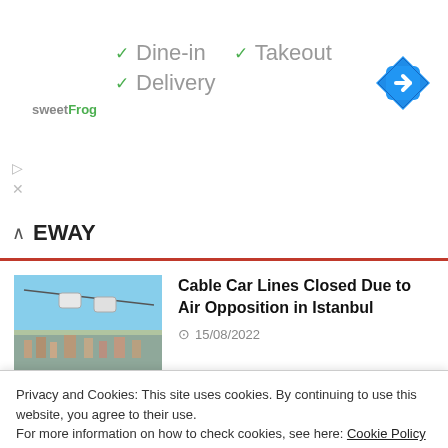[Figure (logo): sweetFrog logo with green and grey text]
✓ Dine-in  ✓ Takeout
✓ Delivery
[Figure (illustration): Blue diamond navigation/directions icon with white right-arrow]
EWAY
[Figure (photo): Cable car gondola over Istanbul cityscape]
Cable Car Lines Closed Due to Air Opposition in Istanbul
15/08/2022
[Figure (photo): Aerial view of Amasya hillside city]
Countdown Has Started for Amasya's Dream Ferhat Hill Cable Car Project
Privacy and Cookies: This site uses cookies. By continuing to use this website, you agree to their use.
For more information on how to check cookies, see here: Cookie Policy